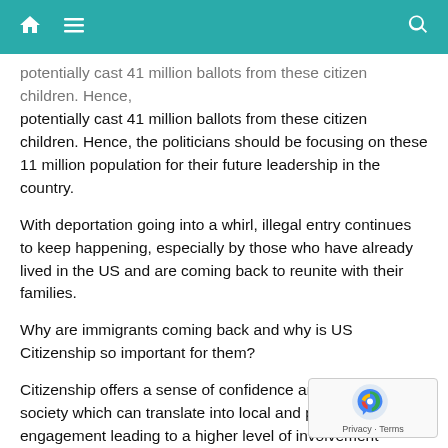Home Menu Search
potentially cast 41 million ballots from these citizen children. Hence, the politicians should be focusing on these 11 million population for their future leadership in the country.
With deportation going into a whirl, illegal entry continues to keep happening, especially by those who have already lived in the US and are coming back to reunite with their families.
Why are immigrants coming back and why is US Citizenship so important for them?
Citizenship offers a sense of confidence and belonging to a society which can translate into local and parental engagement leading to a higher level of involvement towards schools and education on the growth and performance of children. Apart from this when towards citizenship is achieved, families are empowered due